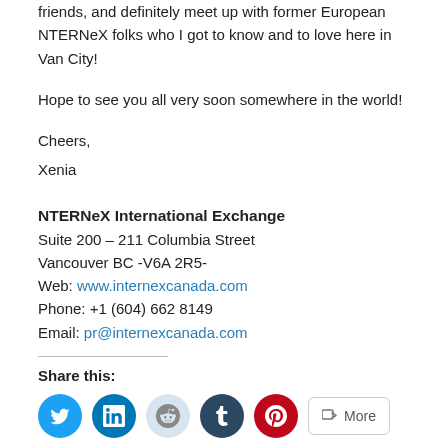friends, and definitely meet up with former European NTERNeX folks who I got to know and to love here in Van City!
Hope to see you all very soon somewhere in the world!
Cheers,
Xenia
NTERNeX International Exchange
Suite 200 – 211 Columbia Street
Vancouver BC -V6A 2R5-
Web: www.internexcanada.com
Phone: +1 (604) 662 8149
Email: pr@internexcanada.com
Share this:
[Figure (infographic): Social share buttons: Twitter (blue circle), LinkedIn (blue circle), Reddit (light blue circle), Tumblr (dark blue circle), Pinterest (red circle), More (rounded rectangle with share icon)]